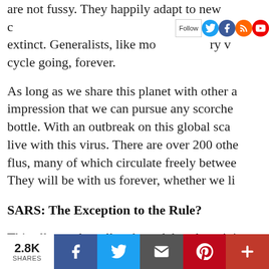are not fussy. They happily adapt to new conditions and rarely go extinct. Generalists, like most of a pantry variety, keep the cycle going, forever.
As long as we share this planet with other animals, we are under the impression that we can pursue any scorched earth policy and put the genie back in the bottle. With an outbreak on this global scale, humanity has to learn to live with this virus. There are over 200 other viruses, including most flus, many of which circulate freely between humans and other animals. They will be with us forever, whether we like it or not.
SARS: The Exception to the Rule?
This all sounds well and good, but the original SARS was stopped by measures like contact tracing and strict qua...
[Figure (infographic): Social sharing bar at the bottom showing 2.8K shares, with Facebook, Twitter, Email, Pinterest, and More (+) buttons]